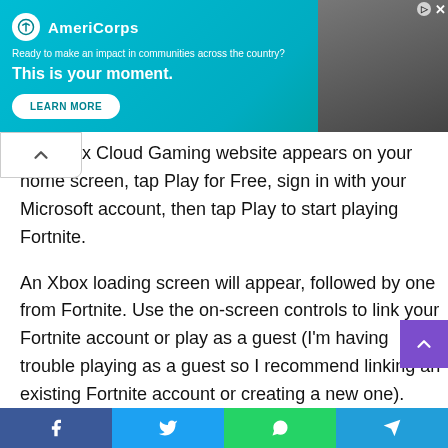[Figure (other): AmeriCorps advertisement banner. Logo with white circle and AmeriCorps text. Tagline: 'Ready to make an impact in communities across the country?' Headline: 'This is your moment.' Learn More button. Right side shows a photo of a person.]
the Xbox Cloud Gaming website appears on your home screen, tap Play for Free, sign in with your Microsoft account, then tap Play to start playing Fortnite.
An Xbox loading screen will appear, followed by one from Fortnite. Use the on-screen controls to link your Fortnite account or play as a guest (I'm having trouble playing as a guest so I recommend linking an existing Fortnite account or creating a new one).
On the top left, you have a range of controls to mute your microphone, exit the game, customize controls, bring up the Xbox menu, and more. For the best
[Figure (other): Social sharing bar at the bottom with Facebook, Twitter, WhatsApp, and Telegram icons on colored backgrounds]